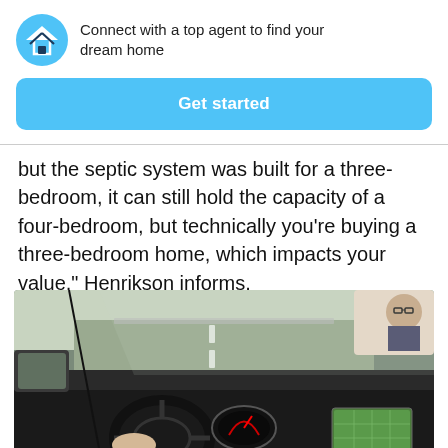Connect with a top agent to find your dream home
[Figure (other): Blue button labeled 'Get started']
but the septic system was built for a three-bedroom, it can still hold the capacity of a four-bedroom, but technically you're buying a three-bedroom home, which impacts your value," Henrikson informs.
[Figure (photo): Person driving a car, view from inside showing steering wheel, dashboard with instrument cluster and GPS navigation screen, side mirror, and rearview mirror with driver wearing glasses reflected.]